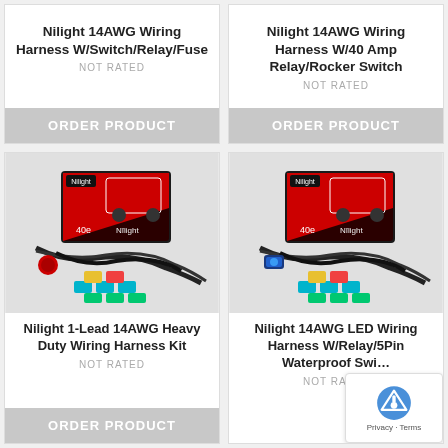Nilight 14AWG Wiring Harness W/Switch/Relay/Fuse
NOT RATED
ORDER PRODUCT
Nilight 14AWG Wiring Harness W/40 Amp Relay/Rocker Switch
NOT RATED
ORDER PRODUCT
[Figure (photo): Nilight 1-Lead 14AWG Heavy Duty Wiring Harness Kit product photo showing wiring harness with fuses and red switch]
Nilight 1-Lead 14AWG Heavy Duty Wiring Harness Kit
NOT RATED
ORDER PRODUCT
[Figure (photo): Nilight 14AWG LED Wiring Harness W/Relay/5Pin Waterproof Switch product photo showing wiring harness with fuses and blue rocker switch]
Nilight 14AWG LED Wiring Harness W/Relay/5Pin Waterproof Switch
NOT RATED
ORDER PRODUCT